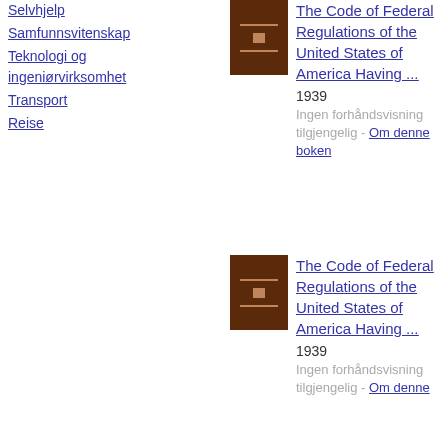Selvhjelp
Samfunnsvitenskap
Teknologi og ingeniørvirksomhet
Transport
Reise
[Figure (photo): Book cover thumbnail for The Code of Federal Regulations of the United States of America Having ... (1939), dark brown cover with decorative lines]
The Code of Federal Regulations of the United States of America Having ...
1939
Ingen forhåndsvisning tilgjengelig - Om denne boken
[Figure (photo): Book cover thumbnail for The Code of Federal Regulations of the United States of America Having ... (1939), dark brown cover with decorative lines]
The Code of Federal Regulations of the United States of America Having ...
1939
Ingen forhåndsvisning tilgjengelig - Om denne